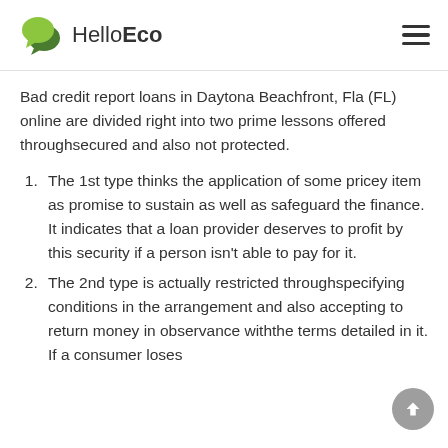HelloEco
Bad credit report loans in Daytona Beachfront, Fla (FL) online are divided right into two prime lessons offered throughsecured and also not protected.
The 1st type thinks the application of some pricey item as promise to sustain as well as safeguard the finance. It indicates that a loan provider deserves to profit by this security if a person isn't able to pay for it.
The 2nd type is actually restricted throughspecifying conditions in the arrangement and also accepting to return money in observance withthe terms detailed in it. If a consumer loses